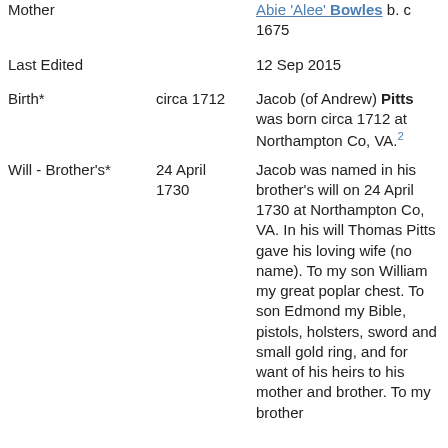| Mother |  | Abie 'Alee' Bowles b. c 1675 |
| Last Edited |  | 12 Sep 2015 |
| Birth* | circa 1712 | Jacob (of Andrew) Pitts was born circa 1712 at Northampton Co, VA.2 |
| Will - Brother's* | 24 April 1730 | Jacob was named in his brother's will on 24 April 1730 at Northampton Co, VA. In his will Thomas Pitts gave his loving wife (no name). To my son William my great poplar chest. To son Edmond my Bible, pistols, holsters, sword and small gold ring, and for want of his heirs to his mother and brother. To my brother |